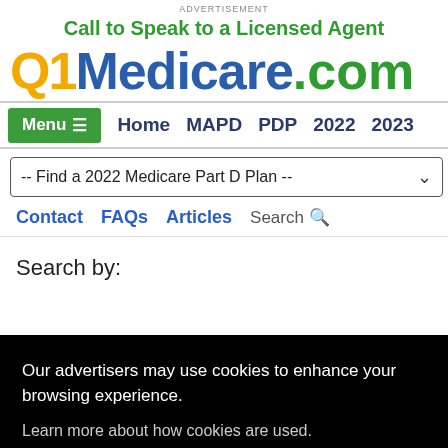ADVERTISEMENT
Call to Speak to a Licensed Agent
[Figure (logo): Q1Medicare.com logo with Q1 in orange, Medicare in dark blue, .com in green]
Menu  Home  MAPD  PDP  2022  2023
-- Find a 2022 Medicare Part D Plan --
Contact  FAQs  Articles  Search
Search by:
Our advertisers may use cookies to enhance your browsing experience.
Learn more about how cookies are used.
Agree
aryID
ults.
Plan Type:  Silver Script Pla...